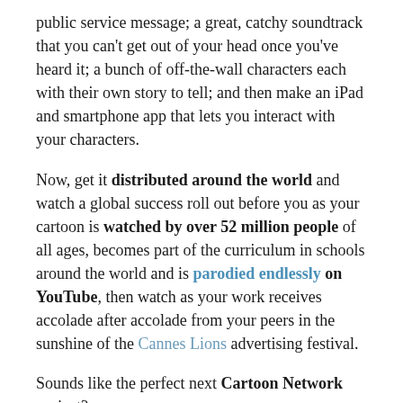public service message; a great, catchy soundtrack that you can't get out of your head once you've heard it; a bunch of off-the-wall characters each with their own story to tell; and then make an iPad and smartphone app that lets you interact with your characters.
Now, get it distributed around the world and watch a global success roll out before you as your cartoon is watched by over 52 million people of all ages, becomes part of the curriculum in schools around the world and is parodied endlessly on YouTube, then watch as your work receives accolade after accolade from your peers in the sunshine of the Cannes Lions advertising festival.
Sounds like the perfect next Cartoon Network project?
That would be...